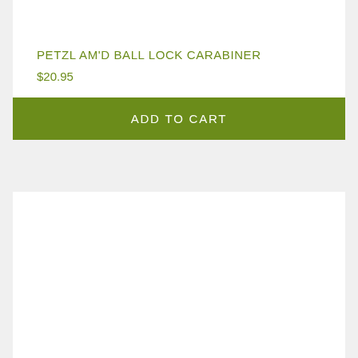PETZL AM'D BALL LOCK CARABINER
$20.95
ADD TO CART